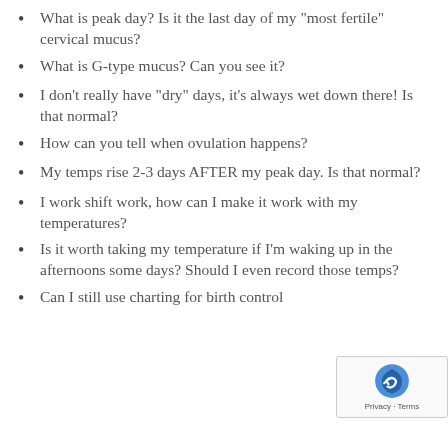What is peak day? Is it the last day of my “most fertile” cervical mucus?
What is G-type mucus? Can you see it?
I don’t really have “dry” days, it’s always wet down there! Is that normal?
How can you tell when ovulation happens?
My temps rise 2-3 days AFTER my peak day. Is that normal?
I work shift work, how can I make it work with my temperatures?
Is it worth taking my temperature if I’m waking up in the afternoons some days? Should I even record those temps?
Can I still use charting for birth control